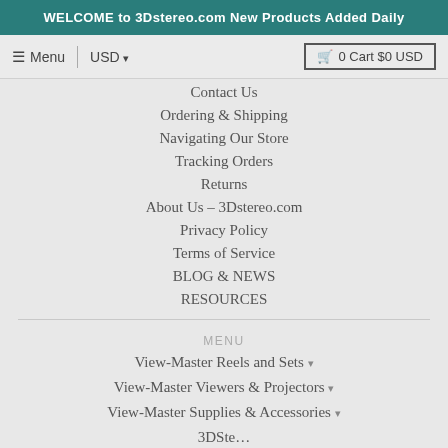WELCOME to 3Dstereo.com New Products Added Daily
≡ Menu  |  USD ▾   🛒 0 Cart $0 USD
Contact Us
Ordering & Shipping
Navigating Our Store
Tracking Orders
Returns
About Us – 3Dstereo.com
Privacy Policy
Terms of Service
BLOG & NEWS
RESOURCES
MENU
View-Master Reels and Sets ▾
View-Master Viewers & Projectors ▾
View-Master Supplies & Accessories ▾
3Dste…